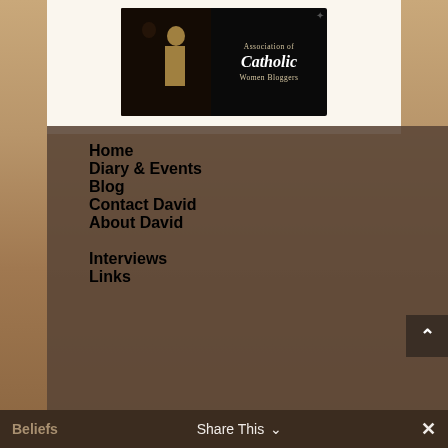[Figure (logo): Association of Catholic Women Bloggers banner with dark background showing two figures in a painting on the left and text on the right]
Home
Diary & Events
Blog
Contact David
About David
Interviews
Links
Beliefs    Share This ∨    ✕